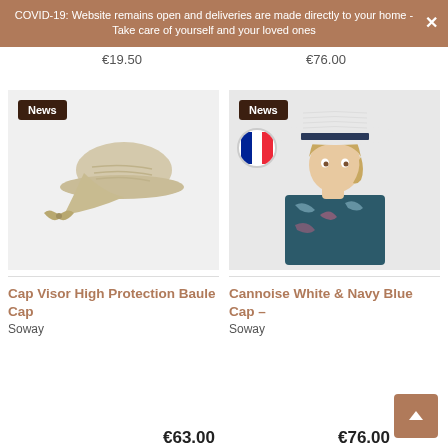COVID-19: Website remains open and deliveries are made directly to your home - Take care of yourself and your loved ones
€19.50   €76.00
[Figure (photo): Sun visor cap with bow tie in beige/white color with 'News' badge]
[Figure (photo): Woman wearing Cannoise White & Navy Blue Cap with 'News' badge and France badge]
Cap Visor High Protection Baule Cap
Cannoise White & Navy Blue Cap –
Soway
Soway
€63.00
€76.00